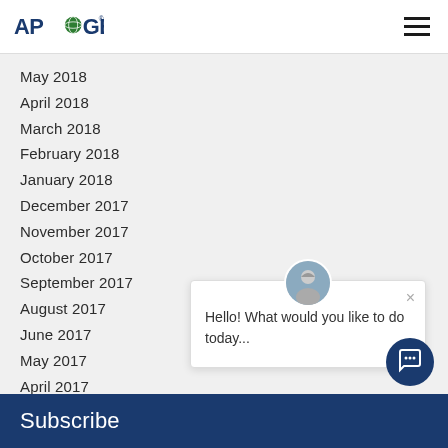APOGEE
May 2018
April 2018
March 2018
February 2018
January 2018
December 2017
November 2017
October 2017
September 2017
August 2017
June 2017
May 2017
April 2017
March 2017
February 2017
[Figure (screenshot): Chat popup with avatar saying Hello! What would you like to do today...]
Subscribe